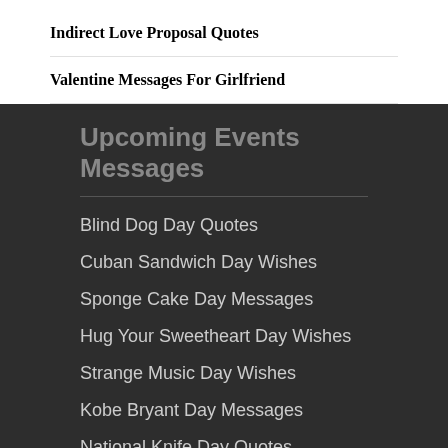Indirect Love Proposal Quotes
Valentine Messages For Girlfriend
Upcoming Events Messages
Blind Dog Day Quotes
Cuban Sandwich Day Wishes
Sponge Cake Day Messages
Hug Your Sweetheart Day Wishes
Strange Music Day Wishes
Kobe Bryant Day Messages
National Knife Day Quotes
Most Popular Events 2022
krishna Janmashtami Messages